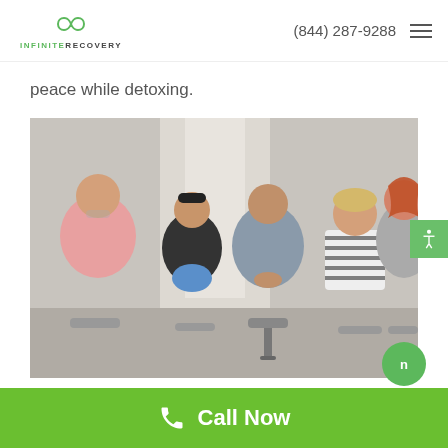INFINITE RECOVERY | (844) 287-9288
peace while detoxing.
[Figure (photo): Group therapy session with five people seated in a circle, talking and smiling in a bright room.]
The time to get sober is now. Don't let another
Call Now